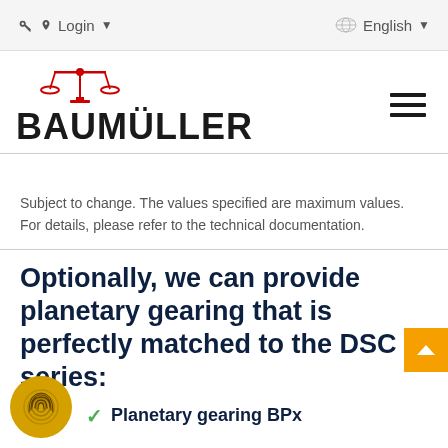Login  English
[Figure (logo): Baumüller logo with red scales symbol above bold black text BAUMÜLLER]
Subject to change. The values specified are maximum values. For details, please refer to the technical documentation.
Optionally, we can provide planetary gearing that is perfectly matched to the DSC series:
Planetary gearing BPx